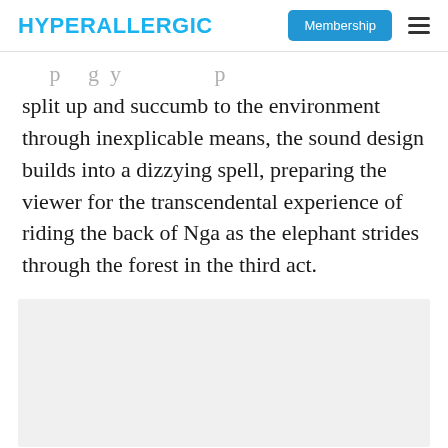HYPERALLERGIC | Membership
split up and succumb to the environment through inexplicable means, the sound design builds into a dizzying spell, preparing the viewer for the transcendental experience of riding the back of Nga as the elephant strides through the forest in the third act.
[Figure (photo): Light gray image placeholder block]